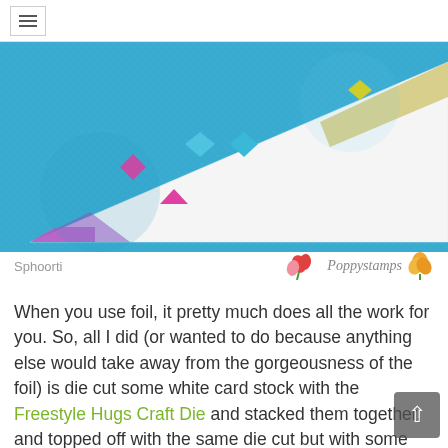☰ (navigation menu icon)
[Figure (photo): Close-up photo of a white triangular card with colorful foil diamond/square embellishments in pink, blue, and yellow on a blue glittery background. The card has a metallic foil edge.]
Sphoorti    Poppystamps
When you use foil, it pretty much does all the work for you. So, all I did (or wanted to do because anything else would take away from the gorgeousness of the foil) is die cut some white card stock with the Freestyle Hugs Craft Die and stacked them together, and topped off with the same die cut but with some silver foil card stock from the Winter Porque